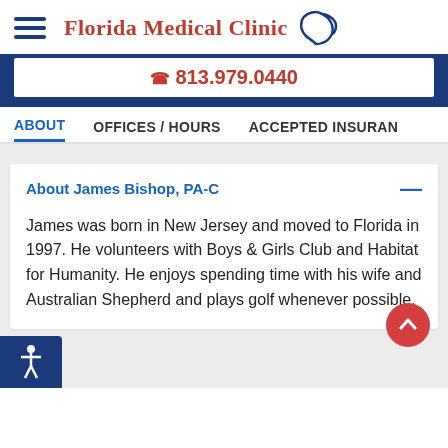[Figure (logo): Florida Medical Clinic logo with hamburger menu icon and Florida state shape outline]
813.979.0440
ABOUT   OFFICES / HOURS   ACCEPTED INSURANCE
About James Bishop, PA-C
James was born in New Jersey and moved to Florida in 1997. He volunteers with Boys & Girls Club and Habitat for Humanity. He enjoys spending time with his wife and Australian Shepherd and plays golf whenever possible.